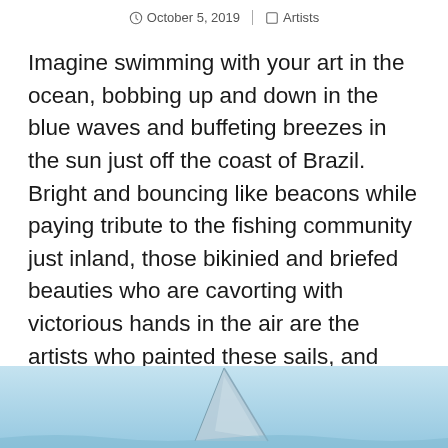October 5, 2019  |  Artists
Imagine swimming with your art in the ocean, bobbing up and down in the blue waves and buffeting breezes in the sun just off the coast of Brazil.  Bright and bouncing like beacons while paying tribute to the fishing community just inland, those bikinied and briefed beauties who are cavorting with victorious hands in the air are the artists who painted these sails, and photographer Martha Cooper was there to capture them for BSA readers to enjoy today.
[Figure (photo): Partial view of a painted sail on blue sky/water background]